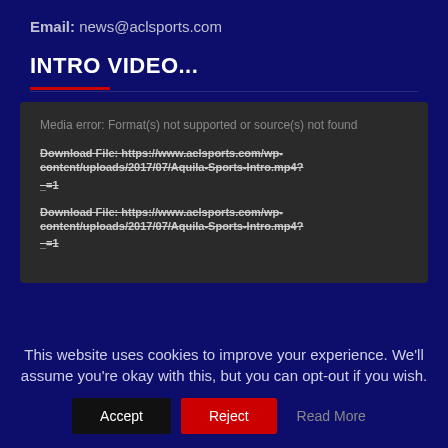Email: news@aclsports.com
INTRO VIDEO...
[Figure (screenshot): Media player error box with dark background showing: 'Media error: Format(s) not supported or source(s) not found', followed by two strikethrough download links to https://www.aclsports.com/wp-content/uploads/2017/07/Aquila-Sports-Intro.mp4?_=1]
This website uses cookies to improve your experience. We'll assume you're okay with this, but you can opt-out if you wish.
Accept | Reject | Read More